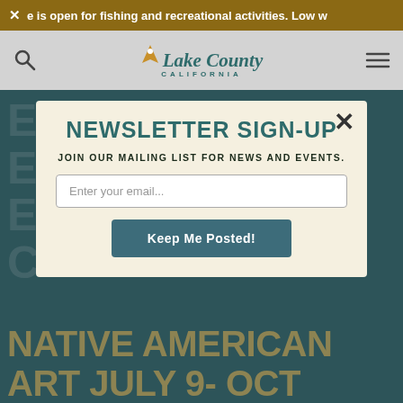× e is open for fishing and recreational activities. Low w
[Figure (logo): Lake County California logo with search icon and hamburger menu in gray navigation bar]
[Figure (screenshot): Hero background with teal/dark green color showing partial white text and bottom text reading NATIVE AMERICAN ART JULY 9- OCT]
NEWSLETTER SIGN-UP
JOIN OUR MAILING LIST FOR NEWS AND EVENTS.
Enter your email...
Keep Me Posted!